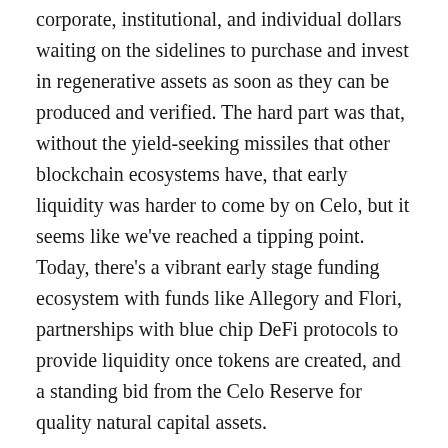corporate, institutional, and individual dollars waiting on the sidelines to purchase and invest in regenerative assets as soon as they can be produced and verified. The hard part was that, without the yield-seeking missiles that other blockchain ecosystems have, that early liquidity was harder to come by on Celo, but it seems like we've reached a tipping point. Today, there's a vibrant early stage funding ecosystem with funds like Allegory and Flori, partnerships with blue chip DeFi protocols to provide liquidity once tokens are created, and a standing bid from the Celo Reserve for quality natural capital assets.
Ultimately, liquidity can be enticed to move, community and mission are impossible to fake. Plus, there's something a little magical about a small but passionate community that's built a movement out of the limelight. Building without the hype and yield